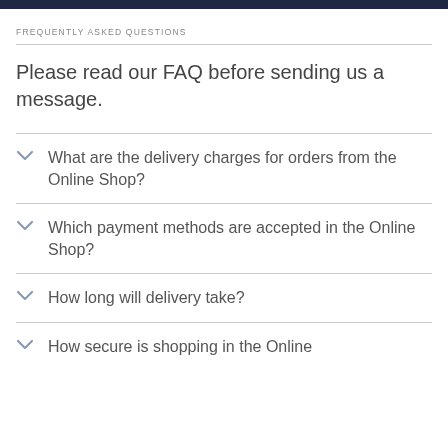FREQUENTLY ASKED QUESTIONS
Please read our FAQ before sending us a message.
What are the delivery charges for orders from the Online Shop?
Which payment methods are accepted in the Online Shop?
How long will delivery take?
How secure is shopping in the Online